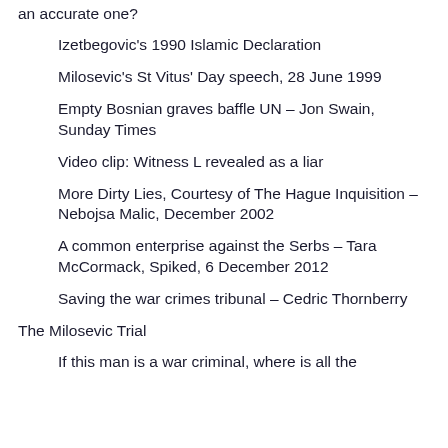an accurate one?
Izetbegovic's 1990 Islamic Declaration
Milosevic's St Vitus' Day speech, 28 June 1999
Empty Bosnian graves baffle UN – Jon Swain, Sunday Times
Video clip: Witness L revealed as a liar
More Dirty Lies, Courtesy of The Hague Inquisition – Nebojsa Malic, December 2002
A common enterprise against the Serbs – Tara McCormack, Spiked, 6 December 2012
Saving the war crimes tribunal – Cedric Thornberry
The Milosevic Trial
If this man is a war criminal, where is all the